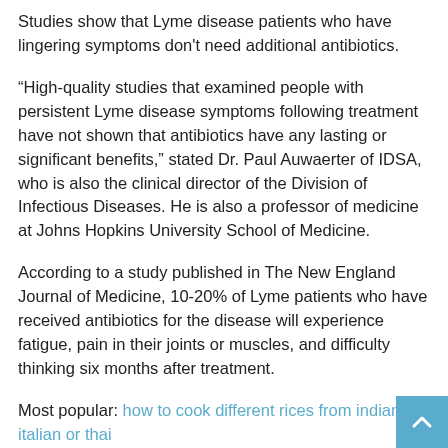Studies show that Lyme disease patients who have lingering symptoms don't need additional antibiotics.
“High-quality studies that examined people with persistent Lyme disease symptoms following treatment have not shown that antibiotics have any lasting or significant benefits,” stated Dr. Paul Auwaerter of IDSA, who is also the clinical director of the Division of Infectious Diseases. He is also a professor of medicine at Johns Hopkins University School of Medicine.
According to a study published in The New England Journal of Medicine, 10-20% of Lyme patients who have received antibiotics for the disease will experience fatigue, pain in their joints or muscles, and difficulty thinking six months after treatment.
Most popular: how to cook different rices from indian to italian or thai